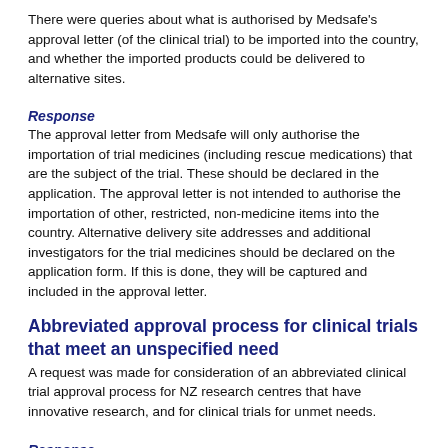There were queries about what is authorised by Medsafe's approval letter (of the clinical trial) to be imported into the country, and whether the imported products could be delivered to alternative sites.
Response
The approval letter from Medsafe will only authorise the importation of trial medicines (including rescue medications) that are the subject of the trial. These should be declared in the application. The approval letter is not intended to authorise the importation of other, restricted, non-medicine items into the country. Alternative delivery site addresses and additional investigators for the trial medicines should be declared on the application form. If this is done, they will be captured and included in the approval letter.
Abbreviated approval process for clinical trials that meet an unspecified need
A request was made for consideration of an abbreviated clinical trial approval process for NZ research centres that have innovative research, and for clinical trials for unmet needs.
Response
An abbreviated process for clinical trial approval is unnecessary. Almost all applications are reviewed (and, if appropriate, are approved) within 2 to 3 weeks of receipt.
Greater flexibility, Sub-investigators, GPs or patients' doctors participating in a trial without being part of the clinical trial site